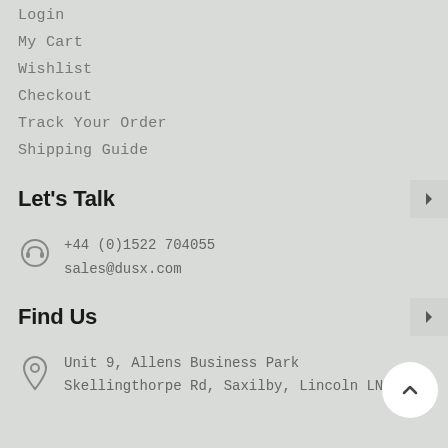Login
My Cart
Wishlist
Checkout
Track Your Order
Shipping Guide
Let's Talk
+44 (0)1522 704055
sales@dusx.com
Find Us
Unit 9, Allens Business Park
Skellingthorpe Rd, Saxilby, Lincoln LN1 2GH